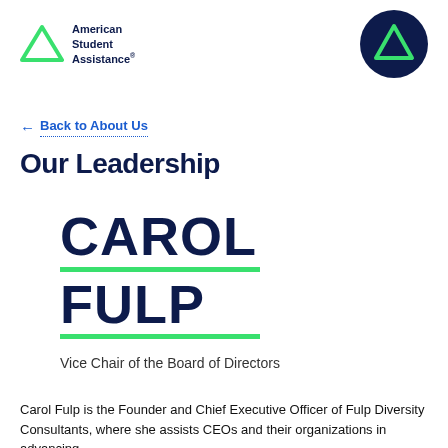[Figure (logo): American Student Assistance logo with green triangle and text, plus dark navy circle logo with green triangle on right]
← Back to About Us
Our Leadership
CAROL FULP
Vice Chair of the Board of Directors
Carol Fulp is the Founder and Chief Executive Officer of Fulp Diversity Consultants, where she assists CEOs and their organizations in advancing